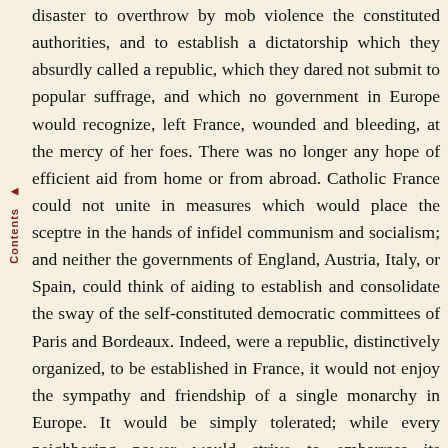disaster to overthrow by mob violence the constituted authorities, and to establish a dictatorship which they absurdly called a republic, which they dared not submit to popular suffrage, and which no government in Europe would recognize, left France, wounded and bleeding, at the mercy of her foes. There was no longer any hope of efficient aid from home or from abroad. Catholic France could not unite in measures which would place the sceptre in the hands of infidel communism and socialism; and neither the governments of England, Austria, Italy, or Spain, could think of aiding to establish and consolidate the sway of the self-constituted democratic committees of Paris and Bordeaux. Indeed, were a republic, distinctively organized, to be established in France, it would not enjoy the sympathy and friendship of a single monarchy in Europe. It would be simply tolerated; while every neighboring power would strive to embarrass its operations, and would eagerly watch for its downfall. In this hostility, none would be more prominent than the majestic